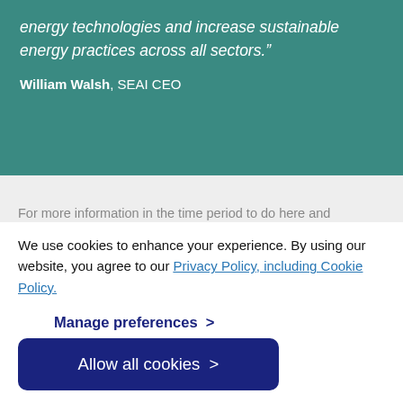energy technologies and increase sustainable energy practices across all sectors."
William Walsh, SEAI CEO
We use cookies to enhance your experience. By using our website, you agree to our Privacy Policy, including Cookie Policy.
Manage preferences >
Allow all cookies >
caused a sharp reduction in oil price, combined with